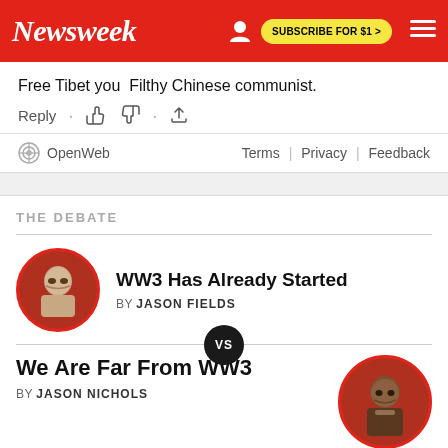Newsweek | SUBSCRIBE FOR $1 >
Free Tibet you Filthy Chinese communist.
Reply · 👍 👎 · ⬆
OpenWeb | Terms | Privacy | Feedback
THE DEBATE
WW3 Has Already Started
BY JASON FIELDS
VS
We Are Far From WW3
BY JASON NICHOLS